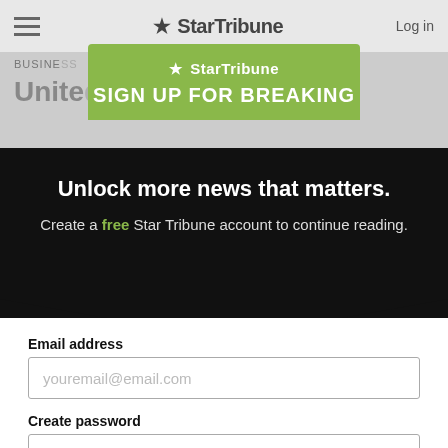★ StarTribune   Log in
BUSINESS
Unite... ant
[Figure (screenshot): Star Tribune sign-up modal overlay with green header showing star logo and 'SIGN UP FOR BREAKING' text]
Unlock more news that matters.
Create a free Star Tribune account to continue reading.
Email address
youremail@email.com
Create password
SHOW
Create an account
By continuing you agree to the Terms of Service and